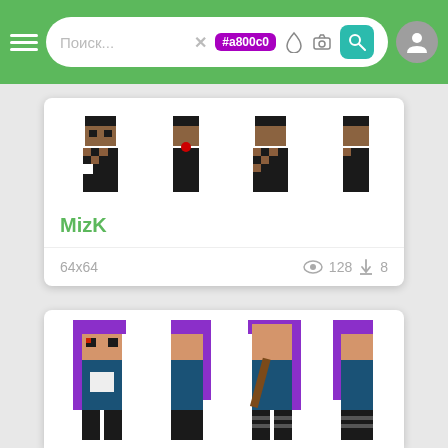Поиск... #a800c0 [search bar with icons]
[Figure (screenshot): Minecraft skin card showing 4 views of a dark/brown checkered skin character named MizK. 64x64 resolution, 128 views, 8 downloads.]
MizK
64x64  128  8
[Figure (screenshot): Minecraft skin card showing 4 views of a character with purple hair and blue jacket outfit.]